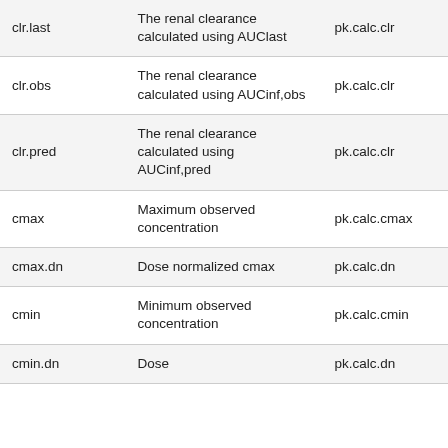| clr.last | The renal clearance calculated using AUClast | pk.calc.clr |
| clr.obs | The renal clearance calculated using AUCinf,obs | pk.calc.clr |
| clr.pred | The renal clearance calculated using AUCinf,pred | pk.calc.clr |
| cmax | Maximum observed concentration | pk.calc.cmax |
| cmax.dn | Dose normalized cmax | pk.calc.dn |
| cmin | Minimum observed concentration | pk.calc.cmin |
| cmin.dn | Dose | pk.calc.dn |